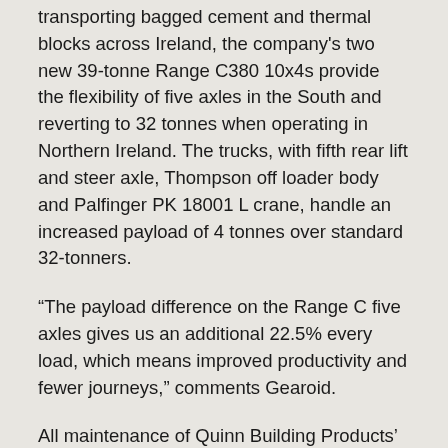transporting bagged cement and thermal blocks across Ireland, the company's two new 39-tonne Range C380 10x4s provide the flexibility of five axles in the South and reverting to 32 tonnes when operating in Northern Ireland. The trucks, with fifth rear lift and steer axle, Thompson off loader body and Palfinger PK 18001 L crane, handle an increased payload of 4 tonnes over standard 32-tonners.
“The payload difference on the Range C five axles gives us an additional 22.5% every load, which means improved productivity and fewer journeys,” comments Gearoid.
All maintenance of Quinn Building Products’ total fleet of 150 trucks and 150 trailers is undertaken at the company’s in-house workshop. Although located some 90 miles from Belfast and from Dublin, the